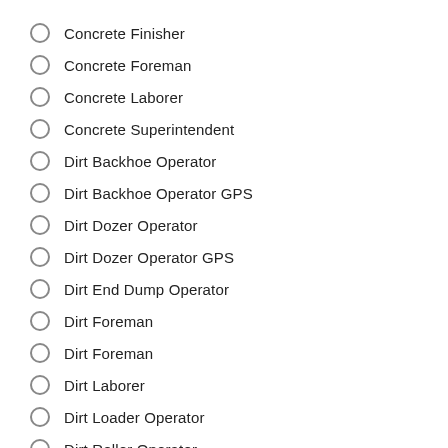Concrete Finisher
Concrete Foreman
Concrete Laborer
Concrete Superintendent
Dirt Backhoe Operator
Dirt Backhoe Operator GPS
Dirt Dozer Operator
Dirt Dozer Operator GPS
Dirt End Dump Operator
Dirt Foreman
Dirt Foreman
Dirt Laborer
Dirt Loader Operator
Dirt Roller Operator